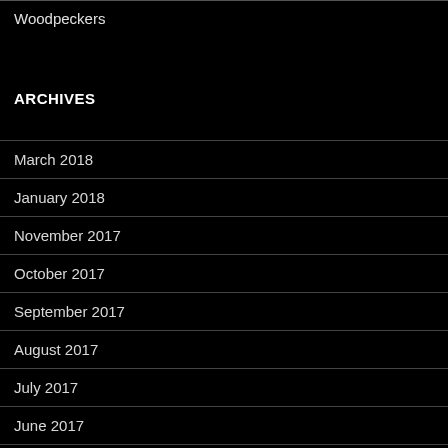Woodpeckers
ARCHIVES
March 2018
January 2018
November 2017
October 2017
September 2017
August 2017
July 2017
June 2017
May 2017